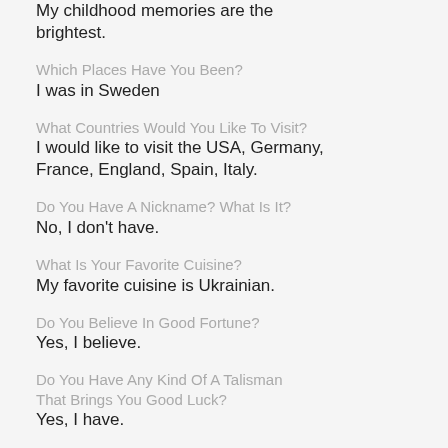My childhood memories are the brightest.
Which Places Have You Been?
I was in Sweden
What Countries Would You Like To Visit?
I would like to visit the USA, Germany, France, England, Spain, Italy.
Do You Have A Nickname? What Is It?
No, I don't have.
What Is Your Favorite Cuisine?
My favorite cuisine is Ukrainian.
Do You Believe In Good Fortune?
Yes, I believe.
Do You Have Any Kind Of A Talisman That Brings You Good Luck?
Yes, I have.